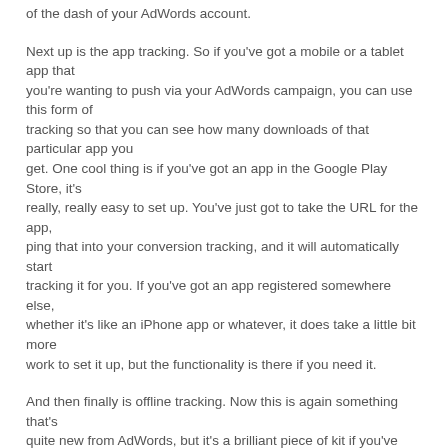of the dash of your AdWords account.
Next up is the app tracking. So if you've got a mobile or a tablet app that you're wanting to push via your AdWords campaign, you can use this form of tracking so that you can see how many downloads of that particular app you get. One cool thing is if you've got an app in the Google Play Store, it's really, really easy to set up. You've just got to take the URL for the app, ping that into your conversion tracking, and it will automatically start tracking it for you. If you've got an app registered somewhere else, whether it's like an iPhone app or whatever, it does take a little bit more work to set it up, but the functionality is there if you need it.
And then finally is offline tracking. Now this is again something that's quite new from AdWords, but it's a brilliant piece of kit if you've kind of got a need for that. So if you've got people that come onto your website and then convert offline, so whether it's via a phone call or whether